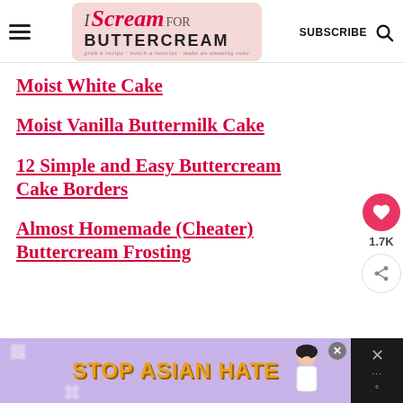I Scream for Buttercream — SUBSCRIBE [search icon]
Moist White Cake
Moist Vanilla Buttermilk Cake
12 Simple and Easy Buttercream Cake Borders
Almost Homemade (Cheater) Buttercream Frosting
[Figure (screenshot): STOP ASIAN HATE advertisement banner at bottom of page with lavender/purple background, flowers, and a cartoon figure. Side panel is dark with X close buttons.]